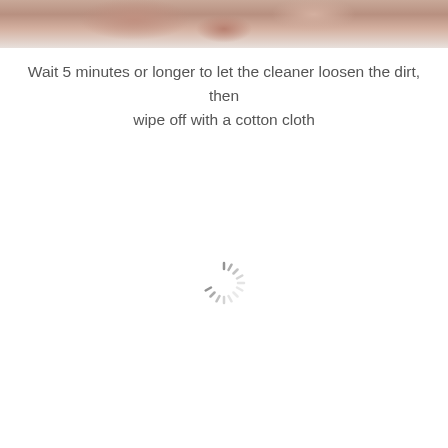[Figure (photo): Close-up photo of hands or skin texture, partially cropped at top of page]
Wait 5 minutes or longer to let the cleaner loosen the dirt, then wipe off with a cotton cloth
[Figure (other): Loading spinner icon (circular dashed spinner) centered on the page]